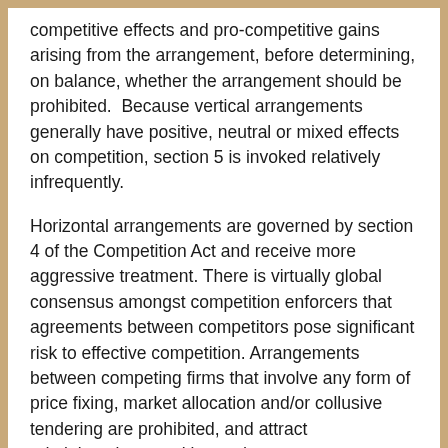competitive effects and pro-competitive gains arising from the arrangement, before determining, on balance, whether the arrangement should be prohibited.  Because vertical arrangements generally have positive, neutral or mixed effects on competition, section 5 is invoked relatively infrequently.
Horizontal arrangements are governed by section 4 of the Competition Act and receive more aggressive treatment. There is virtually global consensus amongst competition enforcers that agreements between competitors pose significant risk to effective competition. Arrangements between competing firms that involve any form of price fixing, market allocation and/or collusive tendering are prohibited, and attract administrative penalties and...